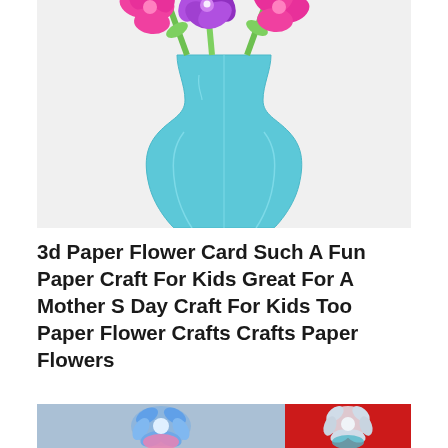[Figure (photo): Photo of paper craft flowers in a light blue vase. Pink and purple paper flowers with green stems in a turquoise/light blue paper vase on a white background.]
3d Paper Flower Card Such A Fun Paper Craft For Kids Great For A Mother S Day Craft For Kids Too Paper Flower Crafts Crafts Paper Flowers
[Figure (photo): Two photos side by side: left shows blue and pink paper/ribbon flowers on a blurred background; right shows similar decorative paper flowers on a red background.]